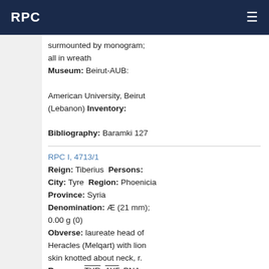RPC
surmounted by monogram; all in wreath Museum: Beirut-AUB: American University, Beirut (Lebanon) Inventory: Bibliography: Baramki 127
RPC I, 4713/1 Reign: Tiberius Persons: City: Tyre Region: Phoenicia Province: Syria Denomination: Æ (21 mm); 0.00 g (0) Obverse: laureate head of Heracles (Melqart) with lion skin knotted about neck, r. Reverse: TYR. ΑΥΓ. ΡΝΑ: